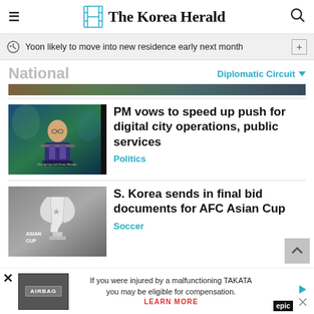The Korea Herald
Yoon likely to move into new residence early next month
National
Diplomatic Circuit
[Figure (photo): Small landscape photo strip at top]
[Figure (photo): Photo of man in suit speaking at podium]
PM vows to speed up push for digital city operations, public services
Politics
[Figure (photo): Photo of AFC Asian Cup trophy]
S. Korea sends in final bid documents for AFC Asian Cup
Soccer
If you were injured by a malfunctioning TAKATA airbag, you may be eligible for compensation. LEARN MORE